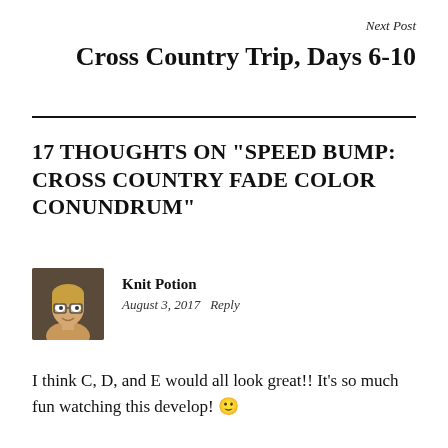Next Post
Cross Country Trip, Days 6-10
17 THOUGHTS ON “SPEED BUMP: CROSS COUNTRY FADE COLOR CONUNDRUM”
[Figure (photo): Profile photo of commenter Knit Potion — woman with short blonde hair and glasses]
Knit Potion
August 3, 2017   Reply
I think C, D, and E would all look great!! It’s so much fun watching this develop! 🙂